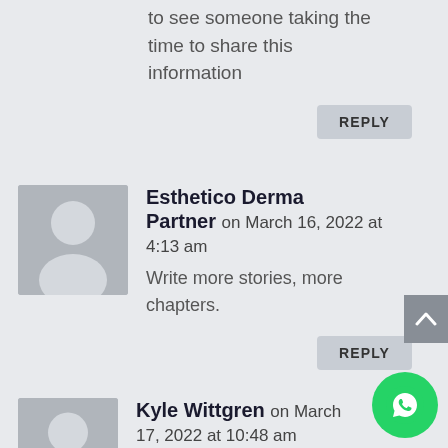to see someone taking the time to share this information
REPLY
[Figure (illustration): Generic user avatar placeholder – grey silhouette on grey background]
Esthetico Derma Partner on March 16, 2022 at 4:13 am
Write more stories, more chapters.
REPLY
[Figure (illustration): Generic user avatar placeholder – grey silhouette on grey background]
Kyle Wittgren on March 17, 2022 at 10:48 am
I enjoy your blog posts,